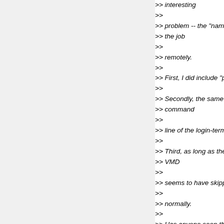>> interesting
>>
>> problem -- the "namdenergy" command doesn't
>> the job
>>
>> remotely.
>>
>> First, I did include "package require namdenerg
>>
>> Secondly, the same tcl script, runs perfectly whe
>> command
>>
>> line of the login-terminal.
>>
>> Third, as long as the script is submitted to a rem
>> VMD
>>
>> seems to have skipped namdenergy. No error m
>>
>> normally.
>>
>> Has anyone seen this kind of behavior before?
>>
>> Thanks.
>>
>> ____________________________
>>
>> Yi (Yves) Wang